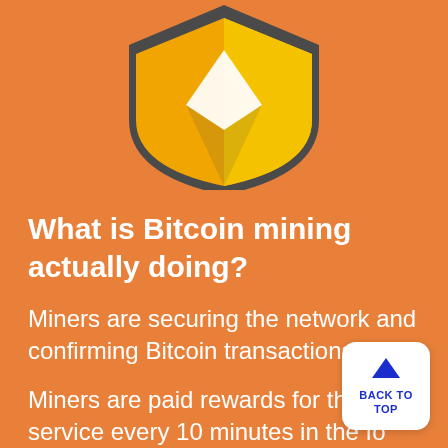[Figure (illustration): Partial Bitcoin shield logo (bottom half visible) with gold/yellow and white sections on a dark grey shield outline, on orange background]
What is Bitcoin mining actually doing?
Miners are securing the network and confirming Bitcoin transactions.
Miners are paid rewards for their service every 10 minutes in the form of new bitcoins.